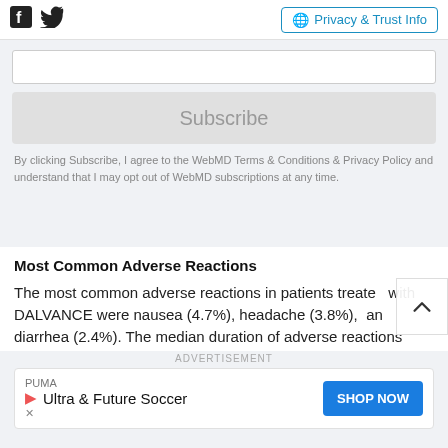Facebook Twitter  Privacy & Trust Info
Subscribe
By clicking Subscribe, I agree to the WebMD Terms & Conditions & Privacy Policy and understand that I may opt out of WebMD subscriptions at any time.
Most Common Adverse Reactions
The most common adverse reactions in patients treated with DALVANCE were nausea (4.7%), headache (3.8%), and diarrhea (2.4%). The median duration of adverse reactions
ADVERTISEMENT  PUMA Ultra & Future Soccer  SHOP NOW